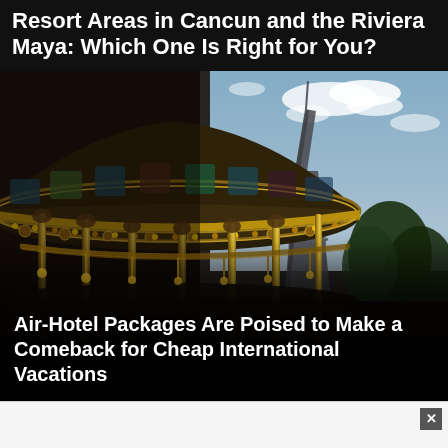Resort Areas in Cancun and the Riviera Maya: Which One Is Right for You?
[Figure (photo): A decorative carousel (merry-go-round) in the foreground with ornate golden details, colored panels, and poles, with the Eiffel Tower visible in the background against a blue sky with clouds.]
Air-Hotel Packages Are Poised to Make a Comeback for Cheap International Vacations